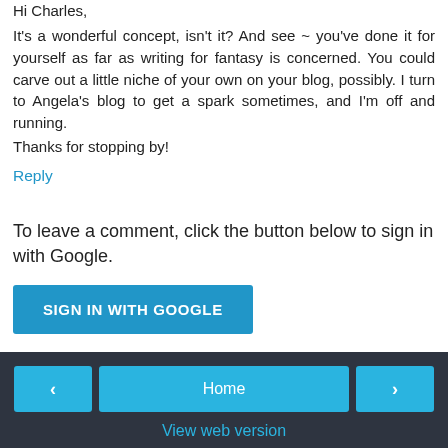Hi Charles,
It's a wonderful concept, isn't it? And see ~ you've done it for yourself as far as writing for fantasy is concerned. You could carve out a little niche of your own on your blog, possibly. I turn to Angela's blog to get a spark sometimes, and I'm off and running.
Thanks for stopping by!
Reply
To leave a comment, click the button below to sign in with Google.
SIGN IN WITH GOOGLE
< Home >
View web version
About Me